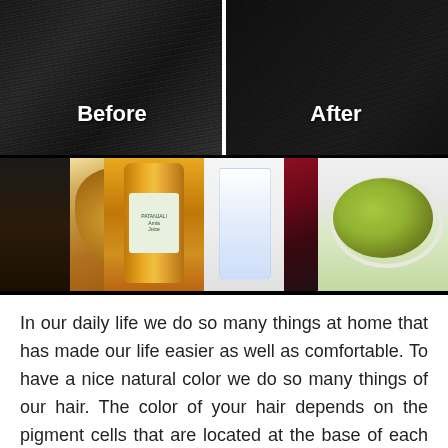[Figure (photo): Before and after comparison of hair color treatment — two side-by-side photos showing dark black hair from behind, labeled 'Before' on left and 'After' on right. Below is a row of ingredient photos: dark oil bottle, ginger root pieces, amber bottle with green label, glass of water/liquid, red leaves/herbs, and a bowl of green paste with a spoon.]
In our daily life we do so many things at home that has made our life easier as well as comfortable. To have a nice natural color we do so many things of our hair. The color of your hair depends on the pigment cells that are located at the base of each hair follicle. With age, these pigment cells